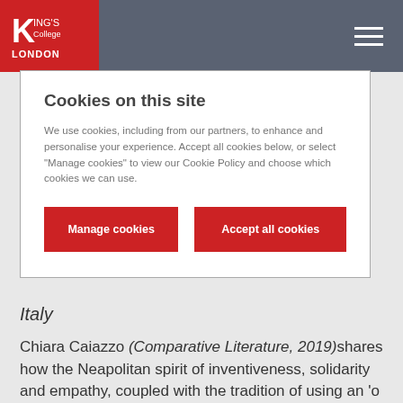King's College London
Cookies on this site
We use cookies, including from our partners, to enhance and personalise your experience. Accept all cookies below, or select "Manage cookies" to view our Cookie Policy and choose which cookies we can use.
Manage cookies
Accept all cookies
Italy
Chiara Caiazzo (Comparative Literature, 2019) shares how the Neapolitan spirit of inventiveness, solidarity and empathy, coupled with the tradition of using an 'o panáro' (bread basket), is helping communities in Naples.